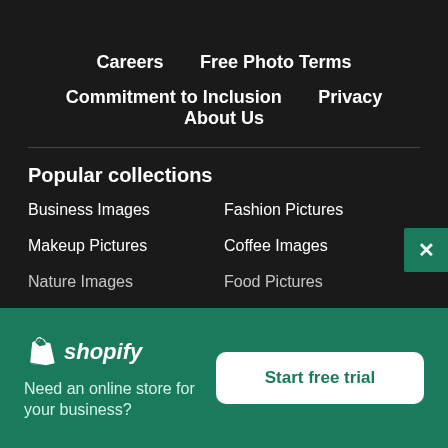Careers
Free Photo Terms
Commitment to Inclusion
Privacy
About Us
Popular collections
Business Images
Fashion Pictures
Makeup Pictures
Coffee Images
Nature Images
Food Pictures
[Figure (logo): Shopify logo with shopping bag icon and italic 'shopify' text in white]
Need an online store for your business?
Start free trial